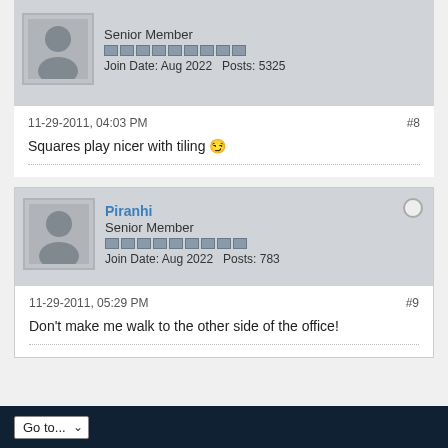Senior Member | Join Date: Aug 2022 | Posts: 5325
11-29-2011, 04:03 PM #8
Squares play nicer with tiling 😉
Piranhi | Senior Member | Join Date: Aug 2022 | Posts: 783
11-29-2011, 05:29 PM #9
Don't make me walk to the other side of the office!
Go to...